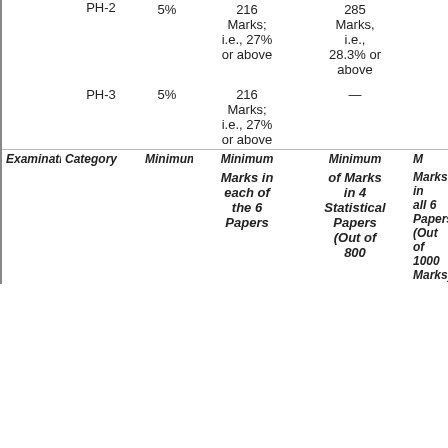| Examination | Category | Minimum | Minimum of Marks in 4 Statistical Papers (Out of 800) | Minimum Marks in all 6 Papers (Out of 1000 Marks) | Minimum re... |
| --- | --- | --- | --- | --- | --- |
|  | PH-2 | 5% | 216 Marks; i.e., 27% or above | 285 Marks, i.e., 28.3% or above |  |
|  | PH-3 | 5% | 216 Marks; i.e., 27% or above | — |  |
| Examination | Category | Minimum | Minimum of Marks in 4 Statistical Papers (Out of 800 | Minimum Marks in all 6 Papers (Out of 1000 Marks) | M re... |